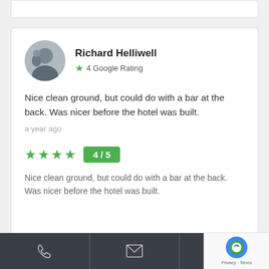Richard Helliwell
4 Google Rating
Nice clean ground, but could do with a bar at the back. Was nicer before the hotel was built.
a year ago
4/5
Nice clean ground, but could do with a bar at the back. Was nicer before the hotel was built.
Phone | Email | Location